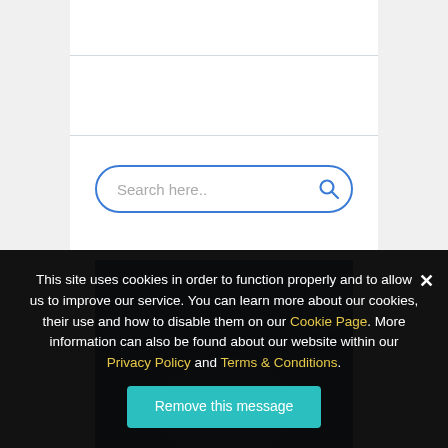[Figure (screenshot): Search bar with rounded border and magnifying glass icon, blue outline]
[Figure (photo): Dark teal/blue abstract technology background with dashed circular arc pattern]
This site uses cookies in order to function properly and to allow us to improve our service. You can learn more about our cookies, their use and how to disable them on our Cookie Page. More information can also be found about our website within our Privacy Policy and Terms & Conditions.
Remove this message